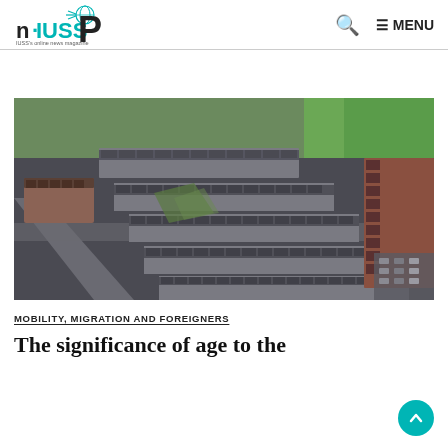n·IUSS P — IUSS's online news magazine | Search | MENU
[Figure (photo): Aerial view of densely packed terraced houses in a UK city, showing rows of grey-roofed residential streets with some green park space visible in the upper right corner.]
MOBILITY, MIGRATION AND FOREIGNERS
The significance of age to the